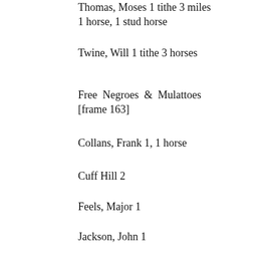Thomas, Moses 1 tithe 3 miles 1 horse, 1 stud horse
Twine, Will 1 tithe 3 horses
Free Negroes & Mulattoes [frame 163]
Collans, Frank 1, 1 horse
Cuff Hill 2
Feels, Major 1
Jackson, John 1
Nathan 1
Newman, James 1, 4 horses
Newman, Benjamin 1, 1 horse
Nelson, Jube 1
Nelson, Jack 1